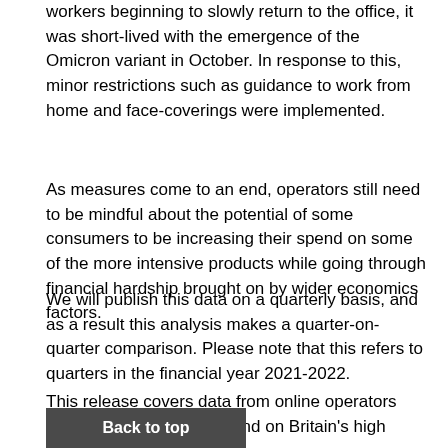workers beginning to slowly return to the office, it was short-lived with the emergence of the Omicron variant in October. In response to this, minor restrictions such as guidance to work from home and face-coverings were implemented.
As measures come to an end, operators still need to be mindful about the potential of some consumers to be increasing their spend on some of the more intensive products while going through financial hardship brought on by wider economics factors.
We will publish this data on a quarterly basis, and as a result this analysis makes a quarter-on-quarter comparison. Please note that this refers to quarters in the financial year 2021-2022.
This release covers data from online operators and Operators (LBOs) found on Britain's high
Back to top